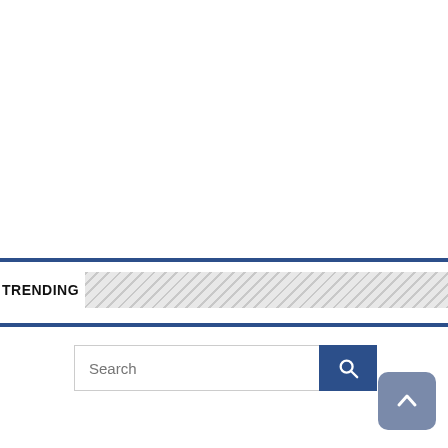TRENDING
[Figure (other): Search bar with text input field showing placeholder 'Search' and a blue search button with magnifying glass icon]
[Figure (other): Scroll-to-top button with upward chevron arrow on a slate blue rounded square background]